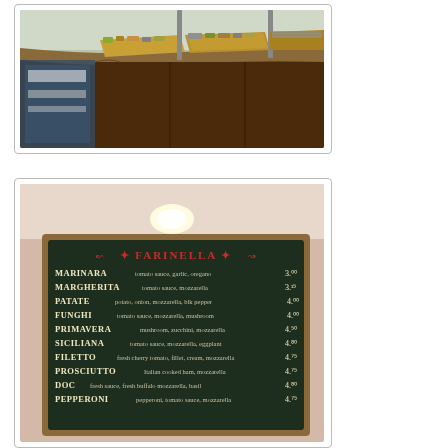[Figure (photo): Photo of a pizza counter/display case showing multiple trays of flatbread pizzas with various toppings, viewed from above-front angle. The counter curves with a glass display case on the left side.]
[Figure (photo): Photo of a chalkboard menu for 'Farinella' pizzeria listing pizza varieties: MARINARA (tomato sauce, garlic, oregano) 3.00, MARGHERITA (tomato sauce, mozzarella) 3.15, PATATE (potato, onion, mozzarella, blk pepper) 4.00, FUNGHI (tomato sauce, mozzarella, mushroom) 4.00, PRIMAVERA (mushroom, zucchini, mozzarella) 4.50, SICILIANA (tomato sauce, mozzarella, eggplant) 4.80, FILETTO (fresh cherry tomato, fillet, cream, mozzarella) 4.75, PROSCIUTTO (Italian cooked ham, mozzarella) 4.75, DOC (fresh sauce, fresh buffalo mozzarella, basil) 4.80, PEPPERONI (pepperoni, tomato sauce, mozzarella) 4.75]